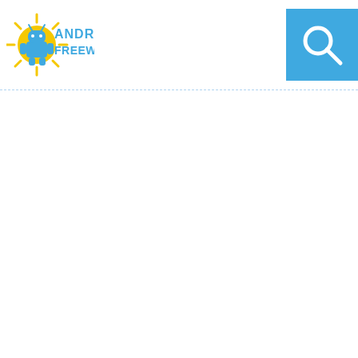[Figure (logo): Android Freeware logo: yellow sunburst with blue Android robot figure and text 'ANDROID FREEWARE' in blue pixelated font]
[Figure (screenshot): Blue search button with white magnifying glass icon in top right corner]